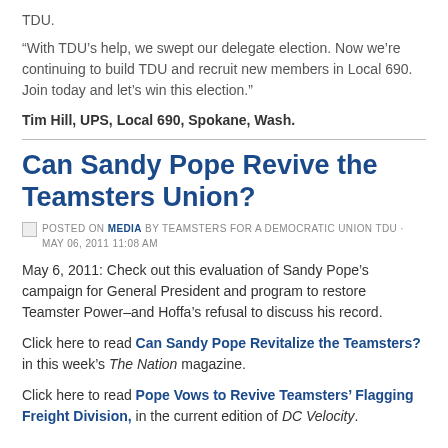TDU.
“With TDU’s help, we swept our delegate election. Now we’re continuing to build TDU and recruit new members in Local 690. Join today and let’s win this election.”
Tim Hill, UPS, Local 690, Spokane, Wash.
Can Sandy Pope Revive the Teamsters Union?
POSTED ON MEDIA BY TEAMSTERS FOR A DEMOCRATIC UNION TDU · MAY 06, 2011 11:08 AM
May 6, 2011: Check out this evaluation of Sandy Pope’s campaign for General President and program to restore Teamster Power–and Hoffa’s refusal to discuss his record.
Click here to read Can Sandy Pope Revitalize the Teamsters? in this week’s The Nation magazine.
Click here to read Pope Vows to Revive Teamsters’ Flagging Freight Division, in the current edition of DC Velocity.